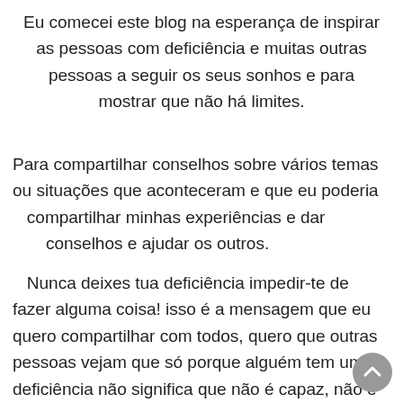Eu comecei este blog na esperança de inspirar as pessoas com deficiência e muitas outras pessoas a seguir os seus sonhos e para mostrar que não há limites.
Para compartilhar conselhos sobre vários temas ou situações que aconteceram e que eu poderia compartilhar minhas experiências e dar conselhos e ajudar os outros.
Nunca deixes tua deficiência impedir-te de fazer alguma coisa! isso é a mensagem que eu quero compartilhar com todos, quero que outras pessoas vejam que só porque alguém tem uma deficiência não significa que não é capaz, não é